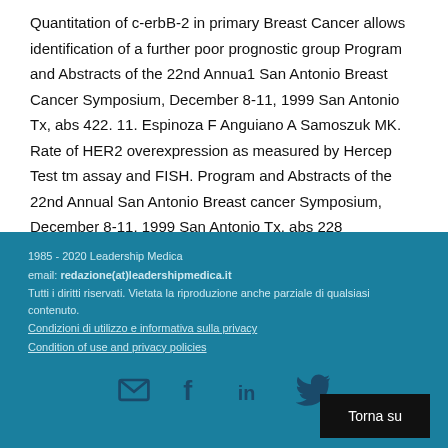Quantitation of c-erbB-2 in primary Breast Cancer allows identification of a further poor prognostic group Program and Abstracts of the 22nd Annual San Antonio Breast Cancer Symposium, December 8-11, 1999 San Antonio Tx, abs 422. 11. Espinoza F Anguiano A Samoszuk MK. Rate of HER2 overexpression as measured by Hercep Test tm assay and FISH. Program and Abstracts of the 22nd Annual San Antonio Breast cancer Symposium, December 8-11, 1999 San Antonio Tx, abs 228
1985 - 2020 Leadership Medica
email: redazione(at)leadershipmedica.it
Tutti i diritti riservati. Vietata la riproduzione anche parziale di qualsiasi contenuto.
Condizioni di utilizzo e informativa sulla privacy
Condition of use and privacy policies